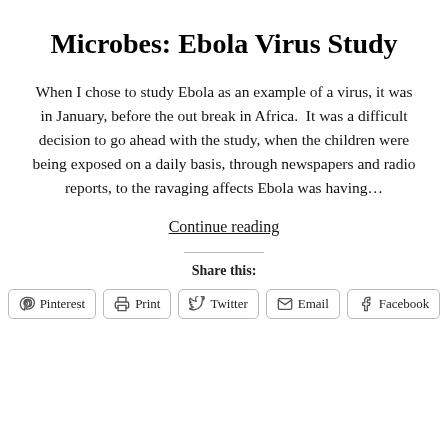Microbes: Ebola Virus Study
When I chose to study Ebola as an example of a virus, it was in January, before the out break in Africa.  It was a difficult decision to go ahead with the study, when the children were being exposed on a daily basis, through newspapers and radio reports, to the ravaging affects Ebola was having…
Continue reading
Share this:
Pinterest  Print  Twitter  Email  Facebook